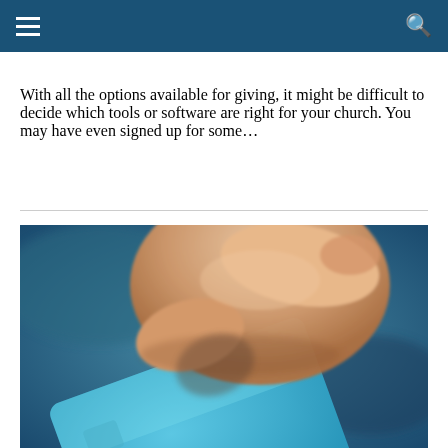Navigation bar with hamburger menu and search icon
With all the options available for giving, it might be difficult to decide which tools or software are right for your church. You may have even signed up for some…
[Figure (photo): A hand holding a blue Mastercard credit card, close-up photograph with blurred background]